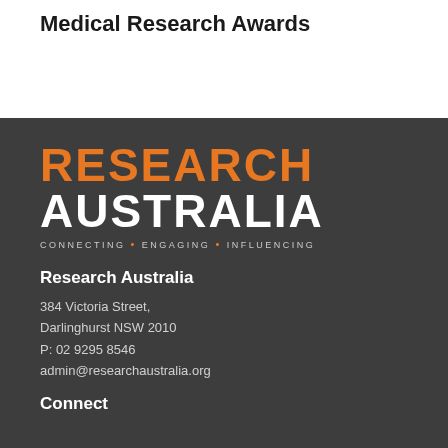2020-22 Research Australia Health and Medical Research Awards
[Figure (logo): Research Australia logo with orange RESEARCH text, white AUSTRALIA text, and tagline CONNECTING • ENGAGING • INFLUENCING]
Research Australia
384 Victoria Street,
Darlinghurst NSW 2010
P: 02 9295 8546
admin@researchaustralia.org
Connect